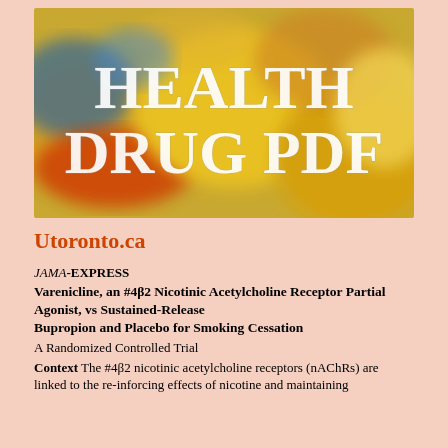[Figure (photo): Colorful blurred photo of pills/capsules with text overlay reading 'HEALTH DRUG PDF' in large white serif font]
Utoronto.ca
JAMA-EXPRESS
Varenicline, an α4β2 Nicotinic Acetylcholine Receptor Partial Agonist, vs Sustained-Release Bupropion and Placebo for Smoking Cessation
A Randomized Controlled Trial
Context The α4β2 nicotinic acetylcholine receptors (nAChRs) are linked to the reinforcing effects of nicotine and maintaining